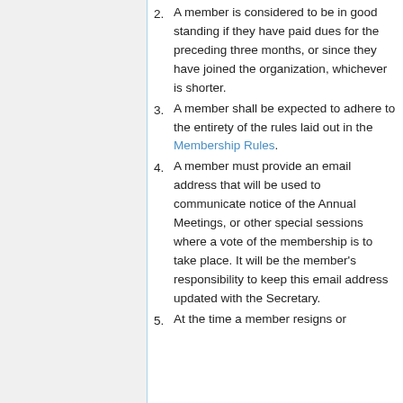2. A member is considered to be in good standing if they have paid dues for the preceding three months, or since they have joined the organization, whichever is shorter.
3. A member shall be expected to adhere to the entirety of the rules laid out in the Membership Rules.
4. A member must provide an email address that will be used to communicate notice of the Annual Meetings, or other special sessions where a vote of the membership is to take place. It will be the member's responsibility to keep this email address updated with the Secretary.
5. At the time a member resigns or